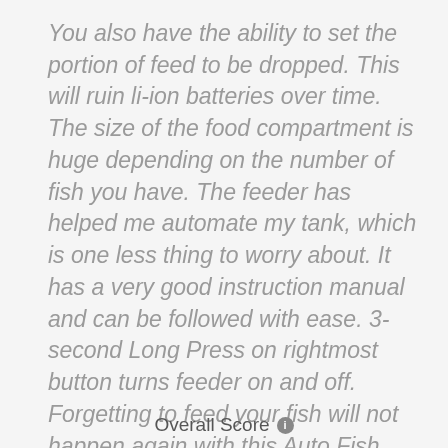You also have the ability to set the portion of feed to be dropped. This will ruin li-ion batteries over time. The size of the food compartment is huge depending on the number of fish you have. The feeder has helped me automate my tank, which is one less thing to worry about. It has a very good instruction manual and can be followed with ease. 3-second Long Press on rightmost button turns feeder on and off. Forgetting to feed your fish will not happen again with this Auto Fish Feeder.
Overall Score ℹ